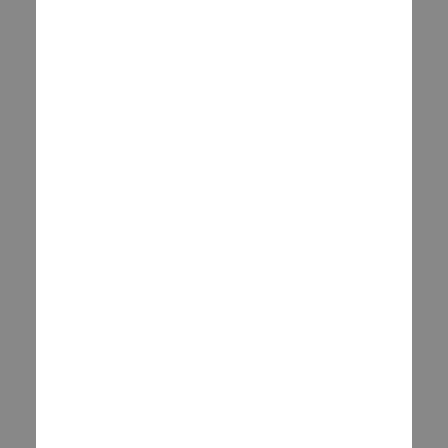e you are done , this will take a little bit of time. The filer is active at this point and you could use it, but we want to get the largest disk spac